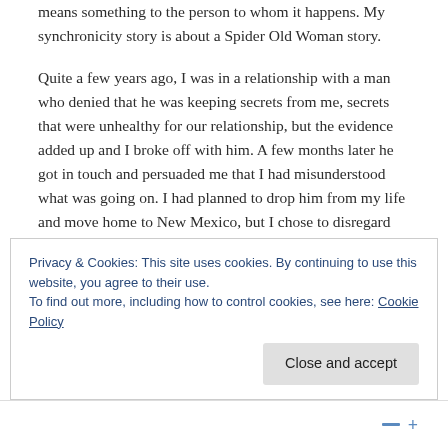means something to the person to whom it happens. My synchronicity story is about a Spider Old Woman story.
Quite a few years ago, I was in a relationship with a man who denied that he was keeping secrets from me, secrets that were unhealthy for our relationship, but the evidence added up and I broke off with him. A few months later he got in touch and persuaded me that I had misunderstood what was going on. I had planned to drop him from my life and move home to New Mexico, but I chose to disregard my intuition and judgment and trusted his
Privacy & Cookies: This site uses cookies. By continuing to use this website, you agree to their use.
To find out more, including how to control cookies, see here: Cookie Policy